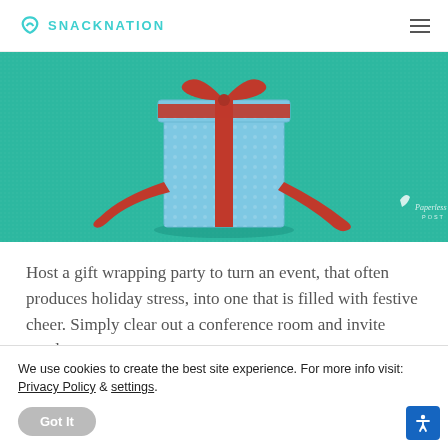SNACKNATION
[Figure (photo): A wrapped gift box with red ribbon and bow on a teal/green textured background, with Paperless Post watermark in bottom right corner.]
Host a gift wrapping party to turn an event, that often produces holiday stress, into one that is filled with festive cheer. Simply clear out a conference room and invite employees
We use cookies to create the best site experience. For more info visit: Privacy Policy & settings.
Got It